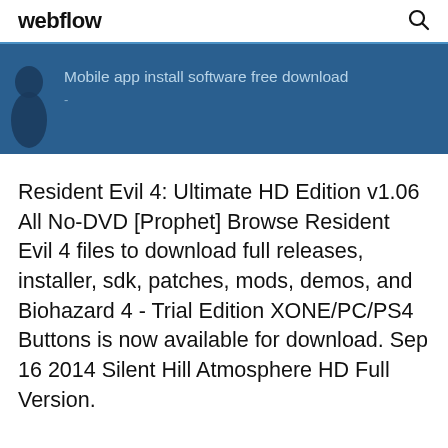webflow
[Figure (screenshot): Blue banner with a dark silhouette figure on the left and text 'Mobile app install software free download' with a dash below it]
Resident Evil 4: Ultimate HD Edition v1.06 All No-DVD [Prophet] Browse Resident Evil 4 files to download full releases, installer, sdk, patches, mods, demos, and Biohazard 4 - Trial Edition XONE/PC/PS4 Buttons is now available for download. Sep 16 2014 Silent Hill Atmosphere HD Full Version.